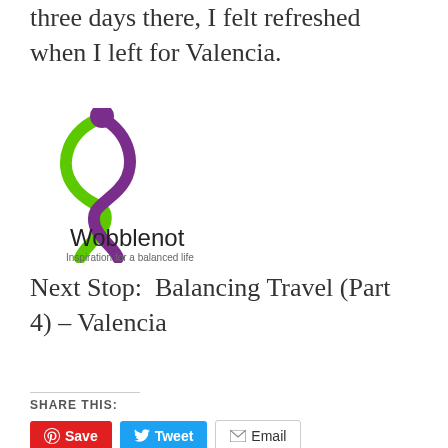three days there, I felt refreshed when I left for Valencia.
[Figure (logo): Wobblenot logo — a stylized figure in green and purple yoga pose — with text 'Wobblenot' and tagline 'Inspiration for a balanced life']
Next Stop:  Balancing Travel (Part 4) – Valencia
SHARE THIS:
Save  Tweet  Email